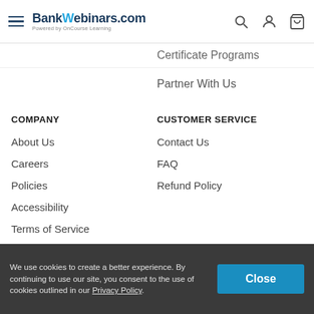BankWebinars.com — Powered by OnCourse Learning
Certificate Programs
Partner With Us
COMPANY
About Us
Careers
Policies
Accessibility
Terms of Service
CUSTOMER SERVICE
Contact Us
FAQ
Refund Policy
We use cookies to create a better experience. By continuing to use our site, you consent to the use of cookies outlined in our Privacy Policy.